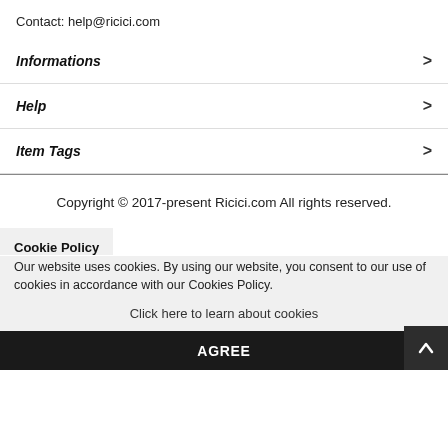Contact: help@ricici.com
Informations
Help
Item Tags
Copyright © 2017-present Ricici.com All rights reserved.
Cookie Policy
Our website uses cookies. By using our website, you consent to our use of cookies in accordance with our Cookies Policy.
Click here to learn about cookies
AGREE